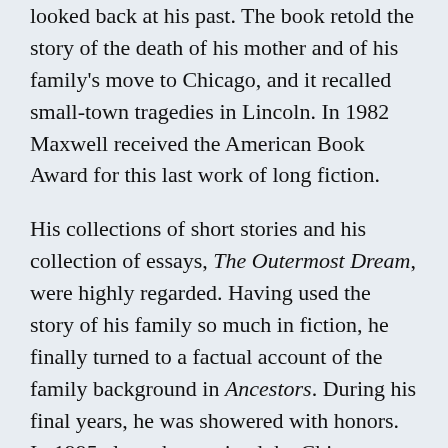looked back at his past. The book retold the story of the death of his mother and of his family's move to Chicago, and it recalled small-town tragedies in Lincoln. In 1982 Maxwell received the American Book Award for this last work of long fiction.
His collections of short stories and his collection of essays, The Outermost Dream, were highly regarded. Having used the story of his family so much in fiction, he finally turned to a factual account of the family background in Ancestors. During his final years, he was showered with honors. In 1995 alone, he received the Chicago Tribune Heartland Award, the PEN/Malamud Award for the Short Story, the Mark Twain Award, the Gold Medal f...